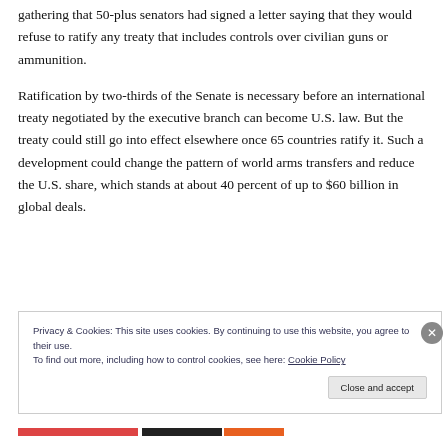gathering that 50-plus senators had signed a letter saying that they would refuse to ratify any treaty that includes controls over civilian guns or ammunition.
Ratification by two-thirds of the Senate is necessary before an international treaty negotiated by the executive branch can become U.S. law. But the treaty could still go into effect elsewhere once 65 countries ratify it. Such a development could change the pattern of world arms transfers and reduce the U.S. share, which stands at about 40 percent of up to $60 billion in global deals.
Privacy & Cookies: This site uses cookies. By continuing to use this website, you agree to their use.
To find out more, including how to control cookies, see here: Cookie Policy